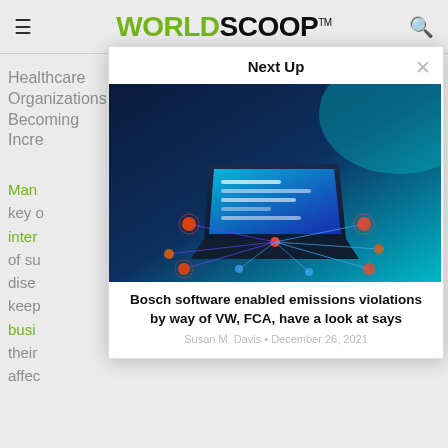WORLDSCOOP™
Healthcare Organizations Becoming Increasingly...
Many... key... inter... of su... dise... keep... busi... their... affec...
Next Up
[Figure (photo): Laptop with glowing digital network connections on a dark blue/teal background]
Bosch software enabled emissions violations by way of VW, FCA, have a look at says
Susan M. Davis • December 26, 2021